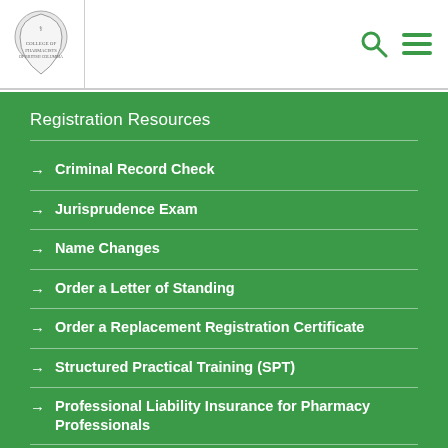College of Pharmacists of British Columbia — header with logo, search icon, and menu icon
Registration Resources
Criminal Record Check
Jurisprudence Exam
Name Changes
Order a Letter of Standing
Order a Replacement Registration Certificate
Structured Practical Training (SPT)
Professional Liability Insurance for Pharmacy Professionals
Registration Committee Policy
Registration Committee Review Process Overview